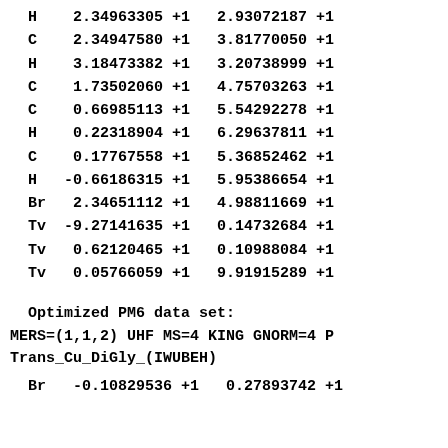H    2.34963305 +1   2.93072187 +1
C    2.34947580 +1   3.81770050 +1
H    3.18473382 +1   3.20738999 +1
C    1.73502060 +1   4.75703263 +1
C    0.66985113 +1   5.54292278 +1
H    0.22318904 +1   6.29637811 +1
C    0.17767558 +1   5.36852462 +1
H   -0.66186315 +1   5.95386654 +1
Br   2.34651112 +1   4.98811669 +1
Tv  -9.27141635 +1   0.14732684 +1
Tv   0.62120465 +1   0.10988084 +1
Tv   0.05766059 +1   9.91915289 +1
Optimized PM6 data set:
MERS=(1,1,2) UHF MS=4 KING GNORM=4 P
Trans_Cu_DiGly_(IWUBEH)
Br  -0.10829536 +1   0.27893742 +1